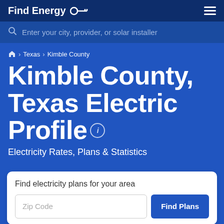Find Energy
Enter your city, provider, or solar installer
Home › Texas › Kimble County
Kimble County, Texas Electric Profile
Electricity Rates, Plans & Statistics
Find electricity plans for your area
Zip Code
Find Plans